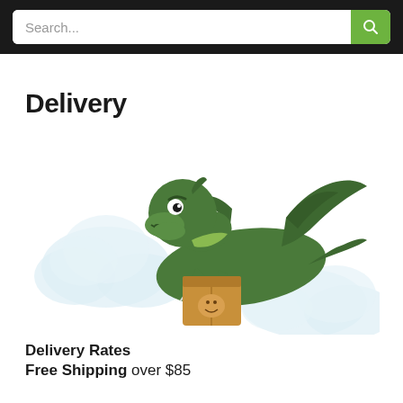Search...
Delivery
[Figure (illustration): A cartoon green dragon flying through clouds while carrying a brown cardboard delivery box with a logo on it.]
Delivery Rates
Free Shipping over $85